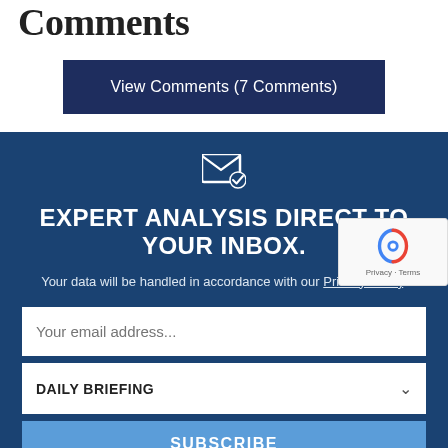Comments
View Comments (7 Comments)
[Figure (infographic): Blue newsletter signup panel with email icon, headline 'EXPERT ANALYSIS DIRECT TO YOUR INBOX.', privacy policy text, email input field, Daily Briefing dropdown, and Subscribe button]
Your data will be handled in accordance with our Privacy Policy.